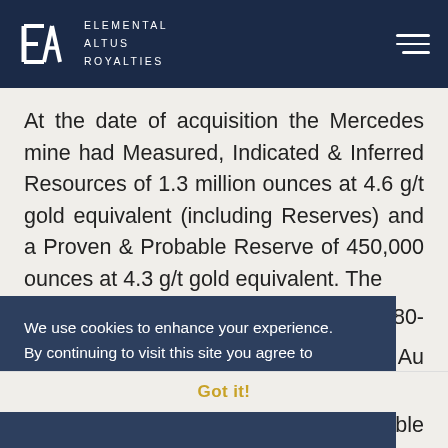ELEMENTAL ALTUS ROYALTIES
At the date of acquisition the Mercedes mine had Measured, Indicated & Inferred Resources of 1.3 million ounces at 4.6 g/t gold equivalent (including Reserves) and a Proven & Probable Reserve of 450,000 ounces at 4.3 g/t gold equivalent. The [80-...Oz Au ...70/Oz ...ilable for conversion into Reserve recent discoveries of
We use cookies to enhance your experience. By continuing to visit this site you agree to our use of cookies.
Got it!